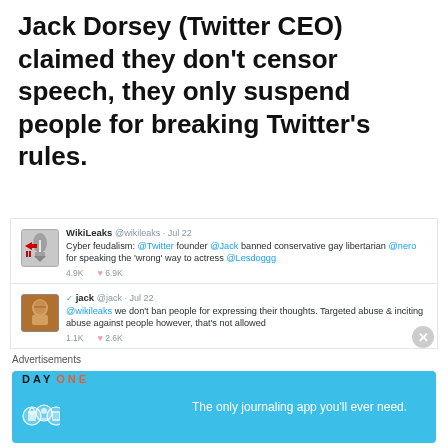Jack Dorsey (Twitter CEO) claimed they don't censor speech, they only suspend people for breaking Twitter's rules.
[Figure (screenshot): Screenshot of a Twitter conversation between WikiLeaks and Jack Dorsey. WikiLeaks tweet: 'Cyber feudalism: @Twitter founder @Jack banned conservative gay libertarian @nero for speaking the 'wrong' way to actress @Lesdoggg' - 4.9K retweets, 6.9K likes. Jack reply: '@wikileaks we don't ban people for expressing their thoughts. Targeted abuse & inciting abuse against people however, that's not allowed' - 1.1K retweets, 2.6K likes. WikiLeaks reply: '@jack It is time @Twitter got out of the censorship/justice game. Let users create communal filter lists if need be.' - 2.9K retweets, 4.9K likes. Jack reply: '@wikileaks all fair points. We are working to get here' - partially visible.]
Advertisements
[Figure (screenshot): Day One app advertisement banner on blue background: 'The only journaling app you'll ever need.']